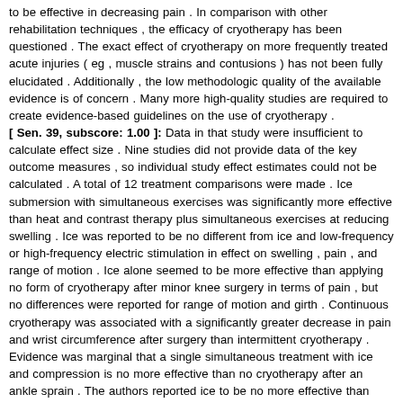to be effective in decreasing pain . In comparison with other rehabilitation techniques , the efficacy of cryotherapy has been questioned . The exact effect of cryotherapy on more frequently treated acute injuries ( eg , muscle strains and contusions ) has not been fully elucidated . Additionally , the low methodologic quality of the available evidence is of concern . Many more high-quality studies are required to create evidence-based guidelines on the use of cryotherapy . [ Sen. 39, subscore: 1.00 ]: Data in that study were insufficient to calculate effect size . Nine studies did not provide data of the key outcome measures , so individual study effect estimates could not be calculated . A total of 12 treatment comparisons were made . Ice submersion with simultaneous exercises was significantly more effective than heat and contrast therapy plus simultaneous exercises at reducing swelling . Ice was reported to be no different from ice and low-frequency or high-frequency electric stimulation in effect on swelling , pain , and range of motion . Ice alone seemed to be more effective than applying no form of cryotherapy after minor knee surgery in terms of pain , but no differences were reported for range of motion and girth . Continuous cryotherapy was associated with a significantly greater decrease in pain and wrist circumference after surgery than intermittent cryotherapy . Evidence was marginal that a single simultaneous treatment with ice and compression is no more effective than no cryotherapy after an ankle sprain . The authors reported ice to be no more effective than rehabilitation only with regard to pain , swelling , and range of motion . Ice and compression seemed to be significantly more effective than ice alone in terms of decreasing pain . Additionally , ice , compression , and a placebo injection reduced pain more than a placebo injection alone . Lastly , in 8 studies , there seemed to be little difference in the effectiveness of ice and compression compared with compression alone . Only 2 of the 8 groups reported significant differences in favor of ice